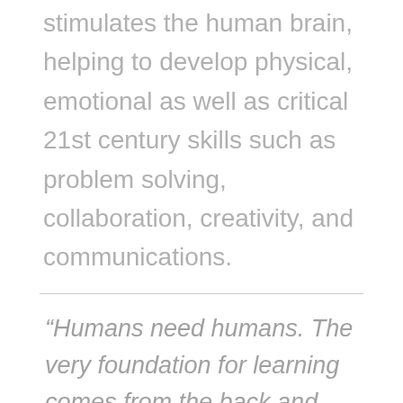stimulates the human brain, helping to develop physical, emotional as well as critical 21st century skills such as problem solving, collaboration, creativity, and communications.
“Humans need humans. The very foundation for learning comes from the back and forth of social interactions between adults and children. Anything